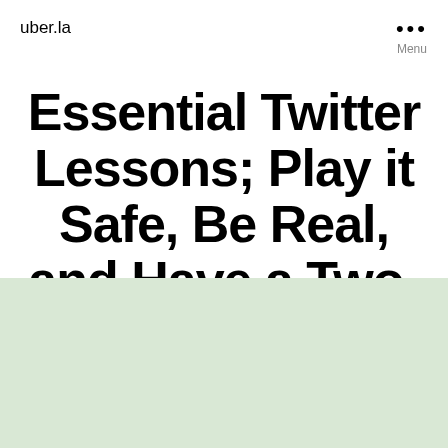uber.la
Essential Twitter Lessons; Play it Safe, Be Real, and Have a Two-Way Conversation
[Figure (other): Light green background block filling the bottom portion of the page]